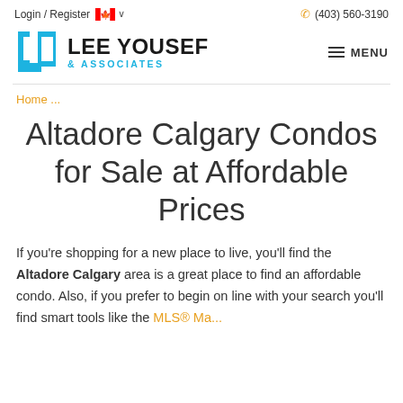Login / Register  🍁  (403) 560-3190
[Figure (logo): Lee Yousef & Associates logo with blue LY icon and bold text]
Home ...
Altadore Calgary Condos for Sale at Affordable Prices
If you're shopping for a new place to live, you'll find the Altadore Calgary area is a great place to find an affordable condo. Also, if you prefer to begin on line with your search you'll find smart tools like the MLS® Map...